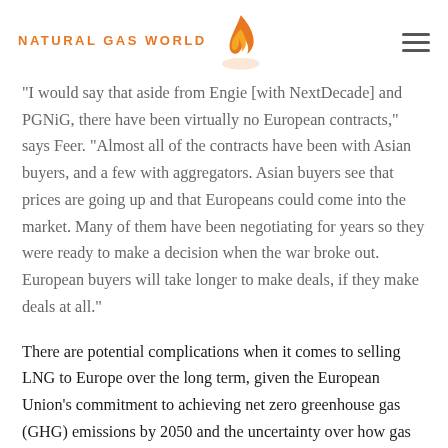NATURAL GAS WORLD
"I would say that aside from Engie [with NextDecade] and PGNiG, there have been virtually no European contracts," says Feer. "Almost all of the contracts have been with Asian buyers, and a few with aggregators. Asian buyers see that prices are going up and that Europeans could come into the market. Many of them have been negotiating for years so they were ready to make a decision when the war broke out. European buyers will take longer to make deals, if they make deals at all."
There are potential complications when it comes to selling LNG to Europe over the long term, given the European Union's commitment to achieving net zero greenhouse gas (GHG) emissions by 2050 and the uncertainty over how gas